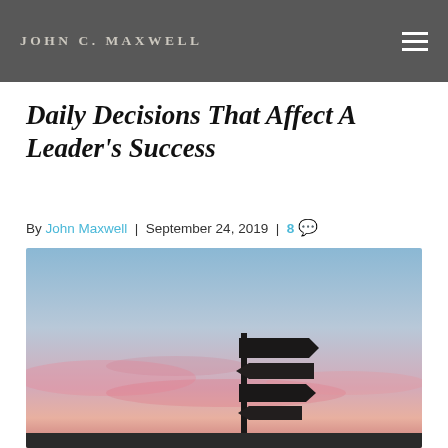JOHN C. MAXWELL
Daily Decisions That Affect A Leader's Success
By John Maxwell | September 24, 2019 | 8 comments
[Figure (photo): A directional signpost with multiple arrows against a pink and blue sunset sky]